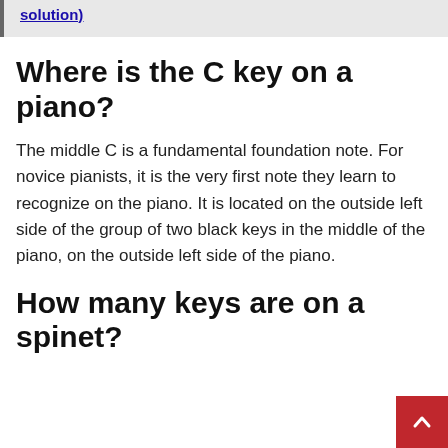solution)
Where is the C key on a piano?
The middle C is a fundamental foundation note. For novice pianists, it is the very first note they learn to recognize on the piano. It is located on the outside left side of the group of two black keys in the middle of the piano, on the outside left side of the piano.
How many keys are on a spinet?